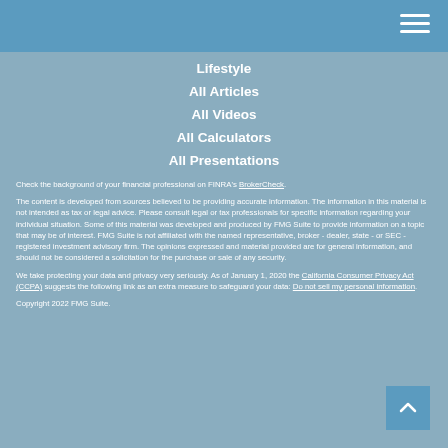Navigation menu header bar with hamburger icon
Lifestyle
All Articles
All Videos
All Calculators
All Presentations
Check the background of your financial professional on FINRA's BrokerCheck.
The content is developed from sources believed to be providing accurate information. The information in this material is not intended as tax or legal advice. Please consult legal or tax professionals for specific information regarding your individual situation. Some of this material was developed and produced by FMG Suite to provide information on a topic that may be of interest. FMG Suite is not affiliated with the named representative, broker - dealer, state - or SEC - registered investment advisory firm. The opinions expressed and material provided are for general information, and should not be considered a solicitation for the purchase or sale of any security.
We take protecting your data and privacy very seriously. As of January 1, 2020 the California Consumer Privacy Act (CCPA) suggests the following link as an extra measure to safeguard your data: Do not sell my personal information.
Copyright 2022 FMG Suite.